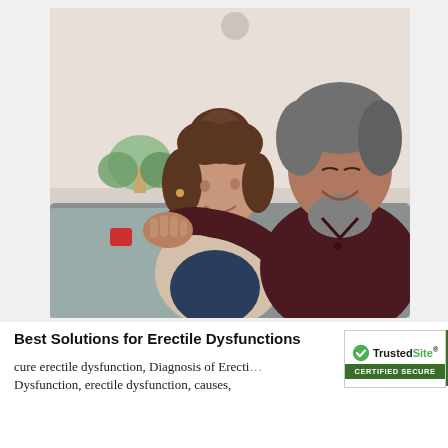[Figure (photo): A middle-aged couple sitting on a grey sofa. A woman with brown hair in a bun, wearing a beige cardigan over a navy top, sits in front. A man with grey-streaked hair and a beard, wearing a dark maroon polo shirt, sits behind her with his arm around her shoulder. Both are smiling and looking at each other. The background shows a bright living room interior.]
Best Solutions for Erectile Dysfunctions
cure erectile dysfunction, Diagnosis of Erectile Dysfunction, erectile dysfunction, causes, treatments